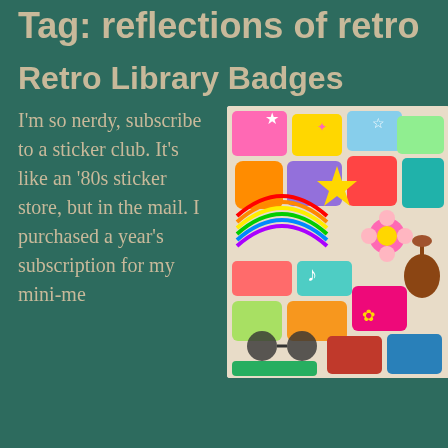Tag: reflections of retro
Retro Library Badges
I'm so nerdy, subscribe to a sticker club. It's like an '80s sticker store, but in the mail. I purchased a year's subscription for my mini-me
[Figure (photo): A colorful collage of many stickers spread out on a surface, featuring retro and pop art style stickers with rainbows, sunglasses, guitars, flowers, and other fun designs.]